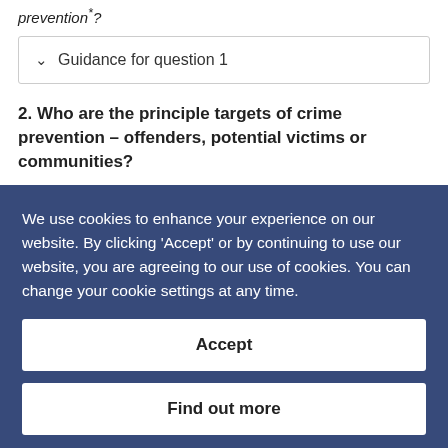prevention*?
∨  Guidance for question 1
2. Who are the principle targets of crime prevention – offenders, potential victims or communities?
×  Guidance for question 2
We use cookies to enhance your experience on our website. By clicking 'Accept' or by continuing to use our website, you are agreeing to our use of cookies. You can change your cookie settings at any time.
Accept
Find out more